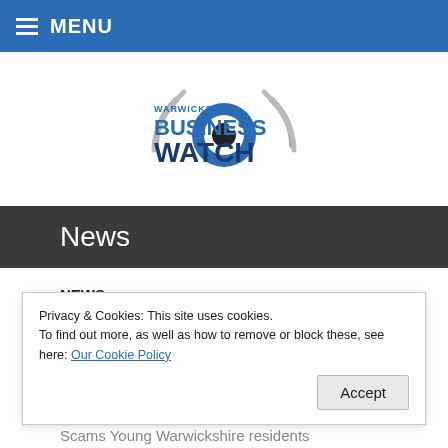MENU
[Figure (logo): Warwickshire Business Watch logo with eye and wifi signal graphics]
News
NEWS
Fake Flight Tickets and other
Privacy & Cookies: This site uses cookies. To find out more, as well as how to remove or block these, see here: Our Cookie Policy
Young investors targeted by Bitcoin Scams Young Warwickshire residents